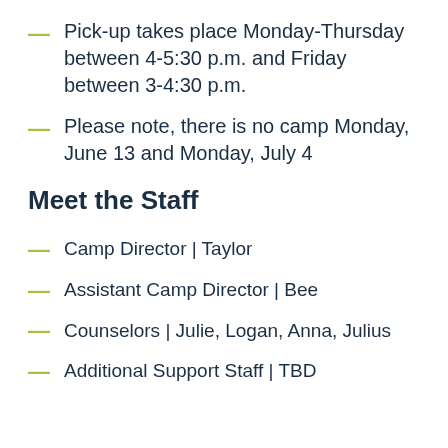Pick-up takes place Monday-Thursday between 4-5:30 p.m. and Friday between 3-4:30 p.m.
Please note, there is no camp Monday, June 13 and Monday, July 4
Meet the Staff
Camp Director  |  Taylor
Assistant Camp Director  |  Bee
Counselors  |  Julie, Logan, Anna, Julius
Additional Support Staff  |  TBD